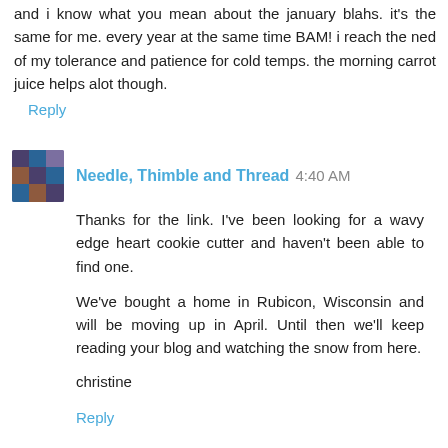and i know what you mean about the january blahs. it's the same for me. every year at the same time BAM! i reach the ned of my tolerance and patience for cold temps. the morning carrot juice helps alot though.
Reply
Needle, Thimble and Thread  4:40 AM
Thanks for the link. I've been looking for a wavy edge heart cookie cutter and haven't been able to find one.
We've bought a home in Rubicon, Wisconsin and will be moving up in April. Until then we'll keep reading your blog and watching the snow from here.
christine
Reply
Sarah  4:50 AM
I need to check on it? A while from now, just a preview...